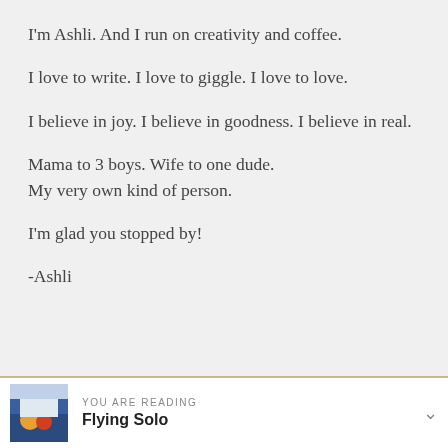I'm Ashli. And I run on creativity and coffee.
I love to write. I love to giggle. I love to love.
I believe in joy. I believe in goodness. I believe in real.
Mama to 3 boys. Wife to one dude.
My very own kind of person.
I'm glad you stopped by!
-Ashli
YOU ARE READING
Flying Solo